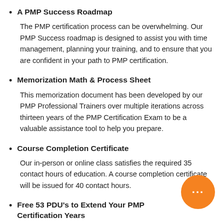A PMP Success Roadmap
The PMP certification process can be overwhelming. Our PMP Success roadmap is designed to assist you with time management, planning your training, and to ensure that you are confident in your path to PMP certification.
Memorization Math & Process Sheet
This memorization document has been developed by our PMP Professional Trainers over multiple iterations across thirteen years of the PMP Certification Exam to be a valuable assistance tool to help you prepare.
Course Completion Certificate
Our in-person or online class satisfies the required 35 contact hours of education. A course completion certificate will be issued for 40 contact hours.
Free 53 PDU's to Extend Your PMP Certification Years
After you complete your PMP certification process, we